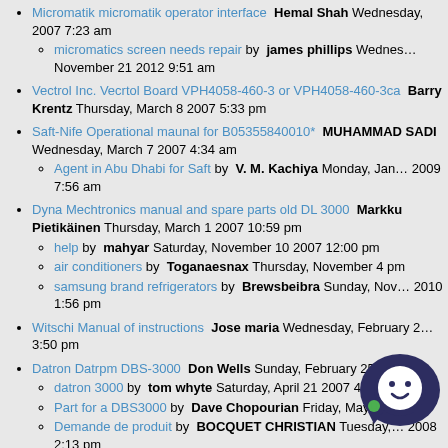Micromatik micromatik operator interface  Hemal Shah Wednesday, 2007 7:23 am
micromatics screen needs repair by  james phillips Wednesday, November 21 2012 9:51 am
Vectrol Inc. Vecrtol Board VPH4058-460-3 or VPH4058-460-3ca  Barry Krentz Thursday, March 8 2007 5:33 pm
Saft-Nife Operational maunal for B05355840010*  MUHAMMAD SADI Wednesday, March 7 2007 4:34 am
Agent in Abu Dhabi for Saft by  V. M. Kachiya Monday, January 2009 7:56 am
Dyna Mechtronics manual and spare parts old DL 3000  Markku Pietikäinen Thursday, March 1 2007 10:59 pm
help by  mahyar Saturday, November 10 2007 12:00 pm
air conditioners by  Toganaesnax Thursday, November 4 pm
samsung brand refrigerators by  Brewsbeibra Sunday, November 2010 1:56 pm
Witschi Manual of instructions  Jose maria Wednesday, February 24 3:50 pm
Datron Datrpm DBS-3000  Don Wells Sunday, February 25 2007 5
datron 3000 by  tom whyte Saturday, April 21 2007 4:31 p
Part for a DBS3000 by  Dave Chopourian Friday, May 2 2 pm
Demande de produit by  BOCQUET CHRISTIAN Tuesday, 2008 2:13 pm
Procond Elettronica  POT Thursday, February 15 2
S.I.C.M.E. motor brushes  Jay Hunsberger Tuesday, 13 pm